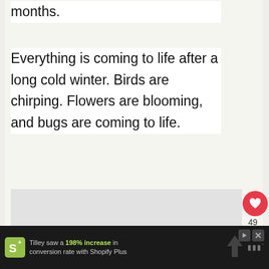months.
Everything is coming to life after a long cold winter. Birds are chirping. Flowers are blooming, and bugs are coming to life.
[Figure (other): Light gray image placeholder rectangle]
49
WHAT'S NEXT → Dragonfly Printable...
Tilley saw a 198% increase in conversion rate with Shopify Plus